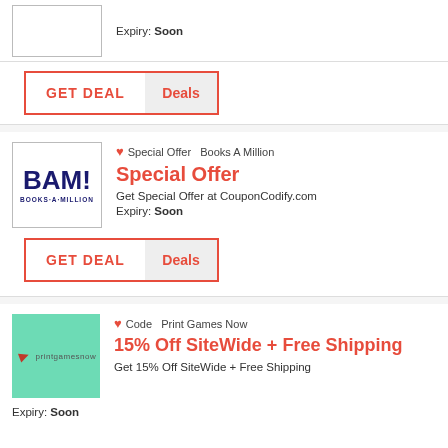Expiry: Soon
[Figure (other): GET DEAL button with red border, partial 'Deals' tab on right]
[Figure (logo): BAM! Books-A-Million logo in dark blue]
❤ Special Offer   Books A Million
Special Offer
Get Special Offer at CouponCodify.com
Expiry: Soon
[Figure (other): GET DEAL button with red border, partial 'Deals' tab on right]
[Figure (logo): Print Games Now logo on mint green background]
❤ Code   Print Games Now
15% Off SiteWide + Free Shipping
Get 15% Off SiteWide + Free Shipping
Expiry: Soon